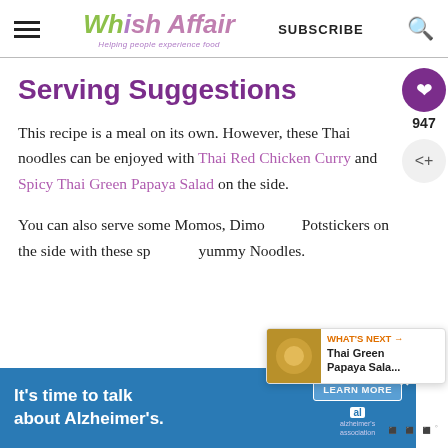Whisk Affair — Helping people experience food | SUBSCRIBE
Serving Suggestions
This recipe is a meal on its own. However, these Thai noodles can be enjoyed with Thai Red Chicken Curry and Spicy Thai Green Papaya Salad on the side.
You can also serve some Momos, Dimsums, or Potstickers on the side with these spicy and yummy Noodles.
[Figure (other): WHAT'S NEXT: Thai Green Papaya Sala... overlay with food thumbnail]
[Figure (other): Advertisement banner: It's time to talk about Alzheimer's. Learn More. Alzheimer's Association.]